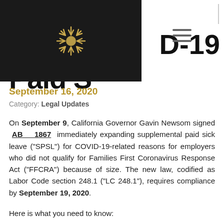California Supplemental COVID-19 Paid Sick Leave
Navigation bar with logo and hamburger menu
September 16, 2020
Category: Legal Updates
On September 9, California Governor Gavin Newsom signed AB 1867 immediately expanding supplemental paid sick leave (“SPSL”) for COVID-19-related reasons for employers who did not qualify for Families First Coronavirus Response Act (“FFCRA”) because of size. The new law, codified as Labor Code section 248.1 (“LC 248.1”), requires compliance by September 19, 2020.
Here is what you need to know: